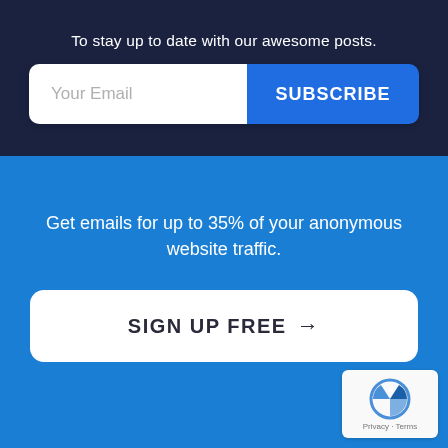To stay up to date with our awesome posts.
Your Email
SUBSCRIBE
Get emails for up to 35% of your anonymous website traffic.
SIGN UP FREE →
[Figure (logo): reCAPTCHA badge with circular arrow logo and Privacy - Terms text]